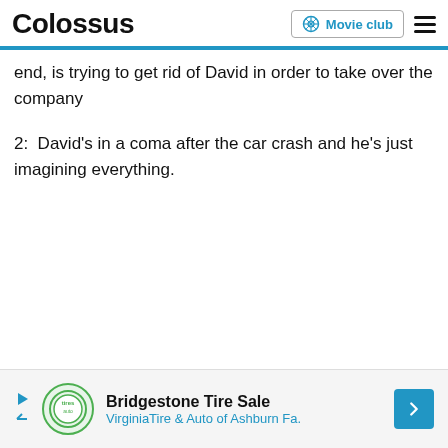Colossus | Movie club
end, is trying to get rid of David in order to take over the company
2:  David's in a coma after the car crash and he's just imagining everything.
[Figure (other): Advertisement banner for Bridgestone Tire Sale - Virginia Tire & Auto of Ashburn Fa.]